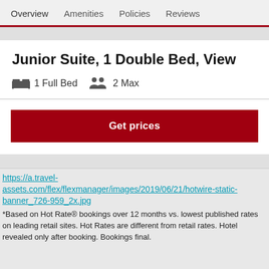Overview   Amenities   Policies   Reviews
Junior Suite, 1 Double Bed, View
1 Full Bed   2 Max
Get prices
https://a.travel-assets.com/flex/flexmanager/images/2019/06/21/hotwire-static-banner_726-959_2x.jpg
*Based on Hot Rate® bookings over 12 months vs. lowest published rates on leading retail sites. Hot Rates are different from retail rates. Hotel revealed only after booking. Bookings final.